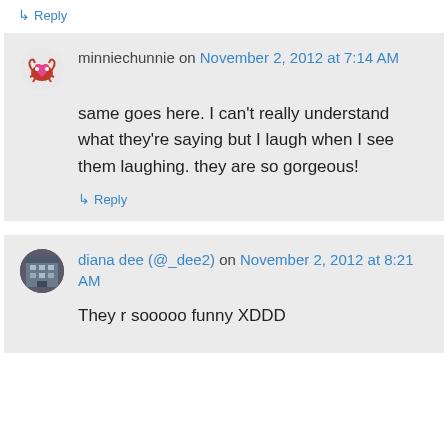↳ Reply
minniechunnie on November 2, 2012 at 7:14 AM
same goes here. I can't really understand what they're saying but I laugh when I see them laughing. they are so gorgeous!
↳ Reply
diana dee (@_dee2) on November 2, 2012 at 8:21 AM
They r sooooo funny XDDD